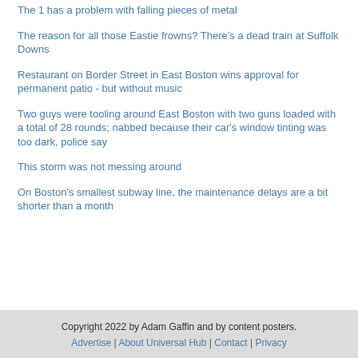The 1 has a problem with falling pieces of metal
The reason for all those Eastie frowns? There's a dead train at Suffolk Downs
Restaurant on Border Street in East Boston wins approval for permanent patio - but without music
Two guys were tooling around East Boston with two guns loaded with a total of 28 rounds; nabbed because their car's window tinting was too dark, police say
This storm was not messing around
On Boston's smallest subway line, the maintenance delays are a bit shorter than a month
Copyright 2022 by Adam Gaffin and by content posters. Advertise | About Universal Hub | Contact | Privacy